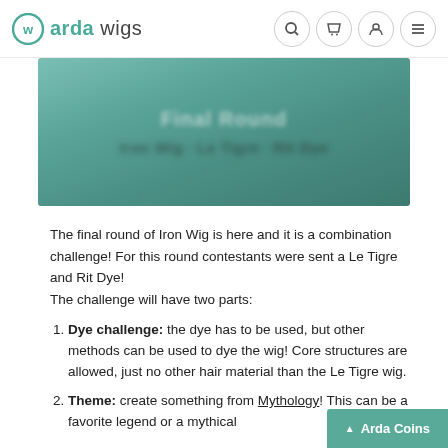arda wigs
[Figure (photo): Blurred teal/green banner image for Iron Wig competition with blurred text overlay]
The final round of Iron Wig is here and it is a combination challenge! For this round contestants were sent a Le Tigre and Rit Dye!
The challenge will have two parts:
Dye challenge: the dye has to be used, but other methods can be used to dye the wig! Core structures are allowed, just no other hair material than the Le Tigre wig.
Theme: create something from Mythology! This can be a favorite legend or a mythical…